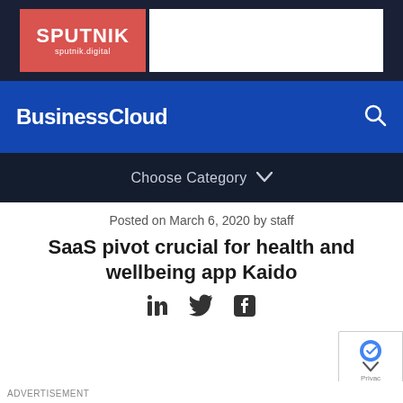[Figure (logo): Sputnik advertisement banner with red Sputnik logo on dark background and white ad space]
BusinessCloud
Choose Category
Posted on March 6, 2020 by staff
SaaS pivot crucial for health and wellbeing app Kaido
[Figure (illustration): Social media share icons: LinkedIn, Twitter, Facebook]
ADVERTISEMENT